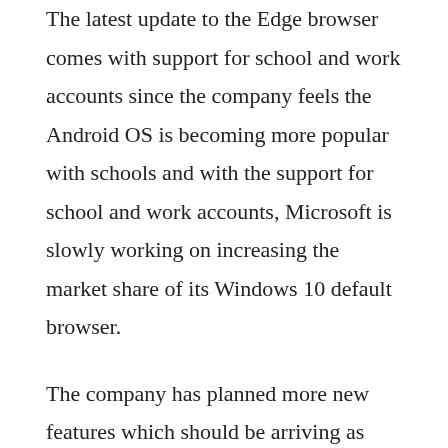The latest update to the Edge browser comes with support for school and work accounts since the company feels the Android OS is becoming more popular with schools and with the support for school and work accounts, Microsoft is slowly working on increasing the market share of its Windows 10 default browser.
The company has planned more new features which should be arriving as part of testing program very soon for Android users. The latest update also comes with parental controls for the Edge browser giving more control to parents with family accounts by allowing their children to view only those websites